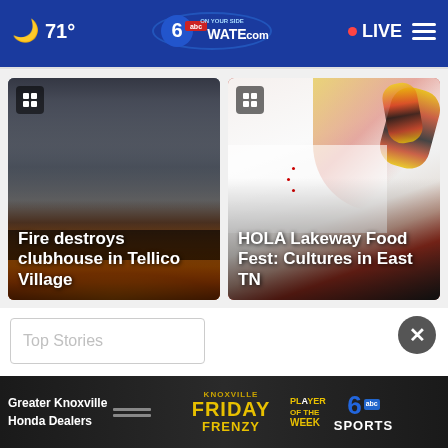71° WATE.com LIVE
[Figure (photo): Fire destroying a building with large flames and black smoke billowing upward — news story image for 'Fire destroys clubhouse in Tellico Village']
Fire destroys clubhouse in Tellico Village
[Figure (photo): Woman in colorful traditional Mexican/Latin folkloric dance costume with white blouse and orange/red/black decorative skirt — news story image for 'HOLA Lakeway Food Fest: Cultures in East TN']
HOLA Lakeway Food Fest: Cultures in East TN
Top Stories
[Figure (screenshot): Advertisement banner for Greater Knoxville Honda Dealers featuring 'Friday Frenzy' and 'Player of the Week' with 6abc SPORTS logo]